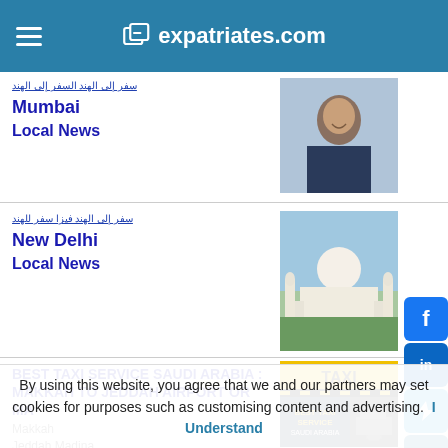expatriates.com
Mumbai
Local News
[Figure (photo): Photo of a smiling woman]
New Delhi
Local News
[Figure (photo): Photo of the Taj Mahal]
BEST TAXI SERVICE SAUDI ARABIA : MAKKAH TO JEDDAH AIRPORT OR
Makkah
Jeddah Madina
[Figure (photo): Best Taxi Service Saudi Arabia advertisement image]
By using this website, you agree that we and our partners may set cookies for purposes such as customising content and advertising. I Understand